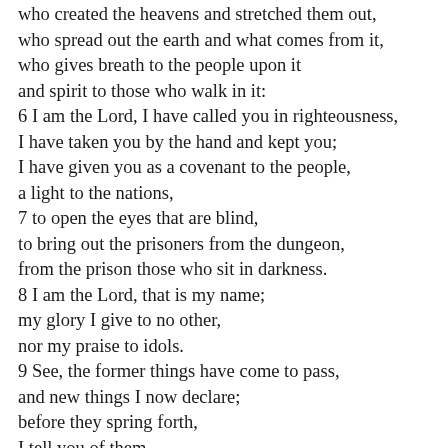who created the heavens and stretched them out, who spread out the earth and what comes from it, who gives breath to the people upon it and spirit to those who walk in it: 6 I am the Lord, I have called you in righteousness, I have taken you by the hand and kept you; I have given you as a covenant to the people, a light to the nations, 7 to open the eyes that are blind, to bring out the prisoners from the dungeon, from the prison those who sit in darkness. 8 I am the Lord, that is my name; my glory I give to no other, nor my praise to idols. 9 See, the former things have come to pass, and new things I now declare; before they spring forth, I tell you of them.